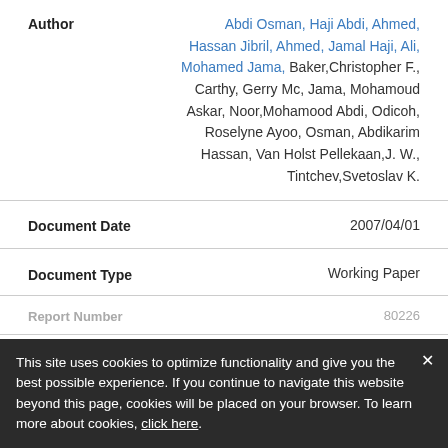Author: Abdi Osman, Haji Abdi, Ahmed, Hassan Jibril, Ahmed, Jamal Haji, Ali, Mohamed Jama, Baker,Christopher F., Carthy, Gerry Mc, Jama, Mohamoud Askar, Noor,Mohamood Abdi, Odicoh, Roselyne Ayoo, Osman, Abdikarim Hassan, Van Holst Pellekaan,J. W., Tintchev,Svetoslav K.
Document Date: 2007/04/01
Document Type: Working Paper
Report Number: 80226
Volume No: 2
This site uses cookies to optimize functionality and give you the best possible experience. If you continue to navigate this website beyond this page, cookies will be placed on your browser. To learn more about cookies, click here.